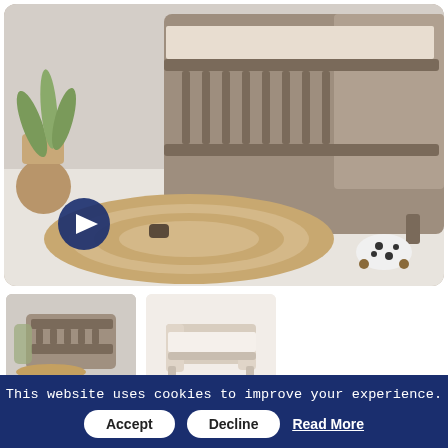[Figure (photo): Main product photo of a baby cot (Tutti Bambini Modena Cot) in a nursery setting with a jute rug, potted plant, toy animals, and a play button overlay in the bottom-left corner.]
[Figure (photo): Thumbnail image 1: baby cot in nursery room setting, smaller view.]
[Figure (photo): Thumbnail image 2: toddler bed frame in light wood color, white background.]
Tutti Bambini Modena Cot
This website uses cookies to improve your experience.
Accept   Decline   Read More